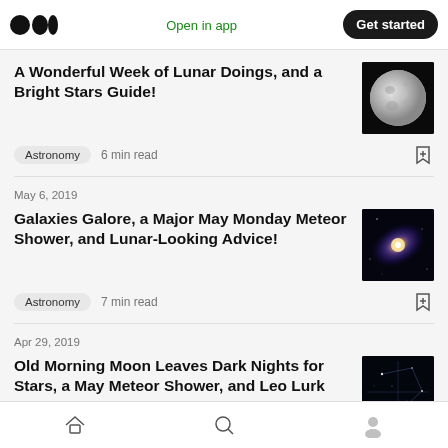Medium app header with logo, Open in app, Get started
A Wonderful Week of Lunar Doings, and a Bright Stars Guide!
Astronomy  6 min read
May 6, 2019
Galaxies Galore, a Major May Monday Meteor Shower, and Lunar-Looking Advice!
Astronomy  7 min read
Apr 29, 2019
Old Morning Moon Leaves Dark Nights for Stars, a May Meteor Shower, and Leo Lurk
Home  Search  Profile